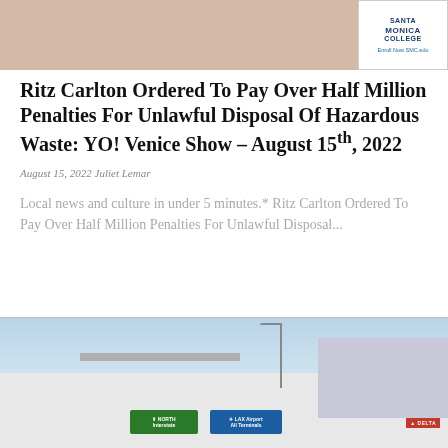[Figure (photo): Top banner area showing a person in a light-colored top on the left, and a Santa Monica College advertisement box on the right]
Ritz Carlton Ordered To Pay Over Half Million Penalties For Unlawful Disposal Of Hazardous Waste: YO! Venice Show – August 15th, 2022
August 15, 2022 Juliet Lemar
Local news and culture in under 5 minutes.* Ritz Carlton Ordered To Pay Over Half Million Penalties For Unlawful Disposal...
[Figure (photo): Street-level photo of the LAX Airport area showing freeway signs including a green NORTH sign and a blue LAX Airport sign, with buildings and a Delta sign visible in the background]